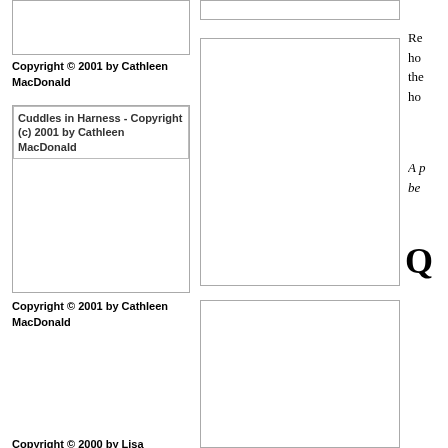[Figure (photo): Image box at top left, partially cropped]
Copyright © 2001 by Cathleen MacDonald
[Figure (photo): Cuddles in Harness - Copyright (c) 2001 by Cathleen MacDonald]
Copyright © 2001 by Cathleen MacDonald
Copyright © 2000 by Lisa Carpenter
[Figure (photo): Large image box top center]
[Figure (photo): Large image box bottom center]
Re ho the ho
A p be
Q